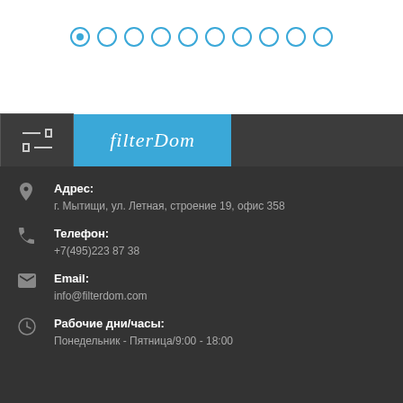[Figure (infographic): Pagination dots: one filled/active dot followed by nine empty circle dots]
[Figure (infographic): Navigation bar with hamburger menu icon on the left, and FilterDom logo in blue block]
Адрес:
г. Мытищи, ул. Летная, строение 19, офис 358
Телефон:
+7(495)223 87 38
Email:
info@filterdom.com
Рабочие дни/часы:
Понедельник - Пятница/9:00 - 18:00